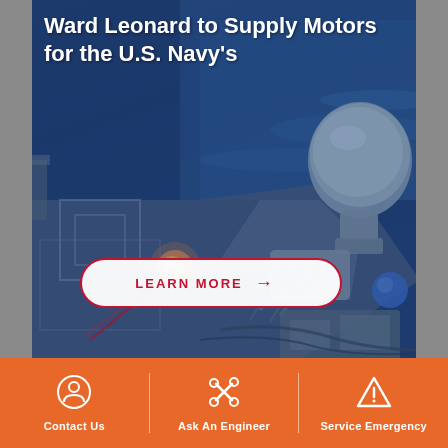[Figure (photo): Aerial/close-up view of a U.S. Navy ship deck with a close-in weapon system (CIWS / Phalanx gun system) firing, with ocean visible in background. Blue overlay tint applied. Shows ship deck, radar dome, gun barrel with muzzle flash and red tracer lines.]
Ward Leonard to Supply Motors for the U.S. Navy's
LEARN MORE →
Contact Us | Ask An Engineer | Service Emergency